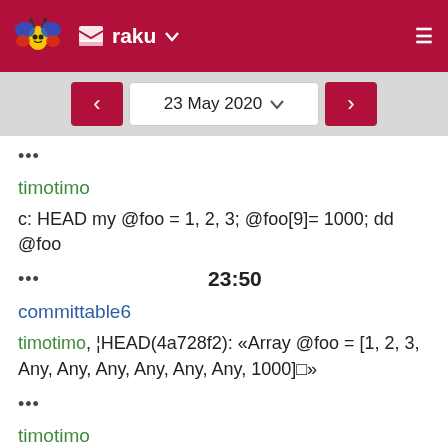raku
23 May 2020
•••
timotimo
c: HEAD my @foo = 1, 2, 3; @foo[9]= 1000; dd @foo
••• 23:50
committable6
timotimo, ¦HEAD(4a728f2): «Array @foo = [1, 2, 3, Any, Any, Any, Any, Any, Any, 1000]□»
•••
timotimo